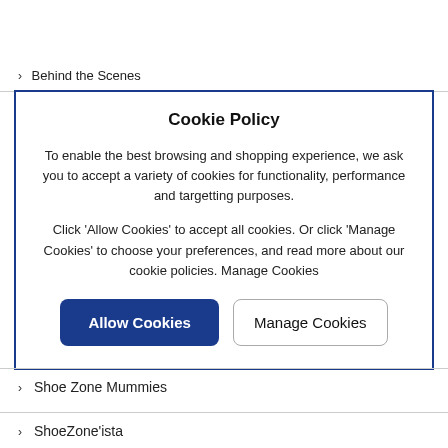> Behind the Scenes
Cookie Policy
To enable the best browsing and shopping experience, we ask you to accept a variety of cookies for functionality, performance and targetting purposes.
Click 'Allow Cookies' to accept all cookies. Or click 'Manage Cookies' to choose your preferences, and read more about our cookie policies. Manage Cookies
> Shoe Zone Mummies
> ShoeZone'ista